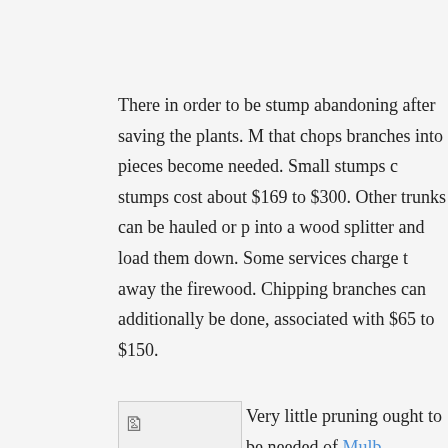There in order to be stump abandoning after saving the plants. M that chops branches into pieces become needed. Small stumps c stumps cost about $169 to $300. Other trunks can be hauled or p into a wood splitter and load them down. Some services charge t away the firewood. Chipping branches can additionally be done, associated with $65 to $150.
[Figure (photo): mulberry purse - broken image placeholder with alt text 'mulberry purse']
Very little pruning ought to be needed of Mulb trees. Pruning while the trees are young to determine the framew black mulberry trees may stay bush-sized if not pruned along wit
You won't find any difficulty in locating its products but should yo selection accessories of this brand then you've got to shop on th isolated shop which show every person the gears it has made.